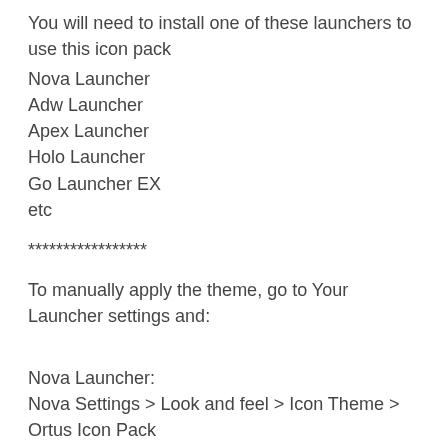You will need to install one of these launchers to use this icon pack
Nova Launcher
Adw Launcher
Apex Launcher
Holo Launcher
Go Launcher EX
etc
*****************
To manually apply the theme, go to Your Launcher settings and:
Nova Launcher:
Nova Settings > Look and feel > Icon Theme > Ortus Icon Pack
Apex Launcher: